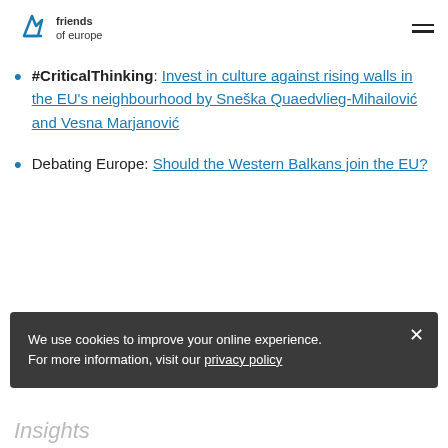Friends of Europe [logo and navigation]
#CriticalThinking: Invest in culture against rising walls in the EU's neighbourhood by Sneška Quaedvlieg-Mihailović and Vesna Marjanović
Debating Europe: Should the Western Balkans join the EU?
We use cookies to improve your online experience. For more information, visit our privacy policy